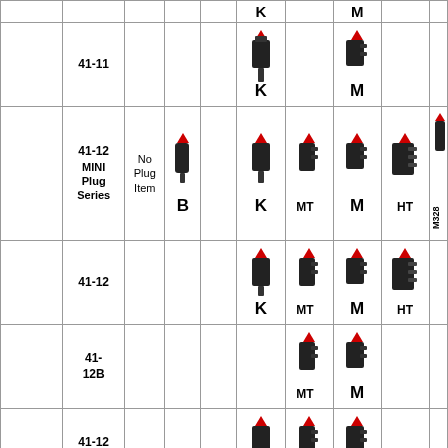|  | Part Number | Series | B |  | K | MT | M | HT | M328 |
| --- | --- | --- | --- | --- | --- | --- | --- | --- | --- |
|  | 41-11 |  |  |  | K |  | M |  |  |
|  | 41-12 MINI Plug Series | No Plug Item | B |  | K | MT | M | HT | M328 |
|  | 41-12 |  |  |  | K | MT | M | HT |  |
|  | 41-12B |  |  |  |  | MT | M |  |  |
|  | 41-12 CC |  |  |  | K | MT | M |  |  |